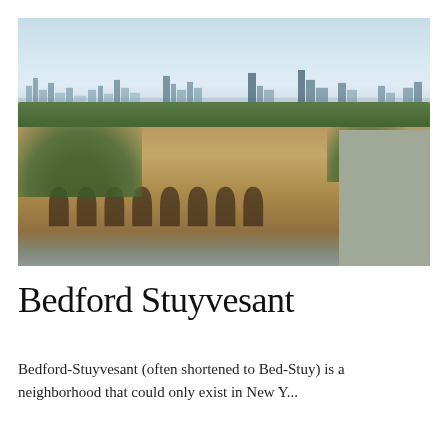[Figure (photo): Aerial/elevated view of Bedford-Stuyvesant neighborhood in Brooklyn, New York. Shows rows of tan/brownstone rowhouses with arched windows in the foreground, dense green tree canopy, and the Manhattan skyline visible in the distance under a partly cloudy sky.]
Bedford Stuyvesant
Bedford-Stuyvesant (often shortened to Bed-Stuy) is a neighborhood that could only exist in New Y...